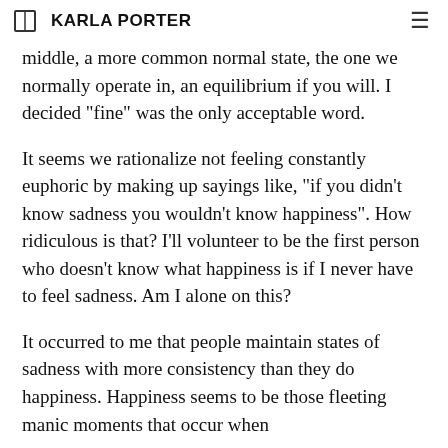KARLA PORTER
middle, a more common normal state, the one we normally operate in, an equilibrium if you will. I decided "fine" was the only acceptable word.
It seems we rationalize not feeling constantly euphoric by making up sayings like, "if you didn't know sadness you wouldn't know happiness". How ridiculous is that? I'll volunteer to be the first person who doesn't know what happiness is if I never have to feel sadness. Am I alone on this?
It occurred to me that people maintain states of sadness with more consistency than they do happiness. Happiness seems to be those fleeting manic moments that occur when